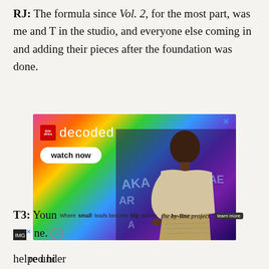RJ: The formula since Vol. 2, for the most part, was me and T in the studio, and everyone else coming in and adding their pieces after the foundation was done.
[Figure (photo): Advertisement for 'decoded' on Dstv Africa streaming service. Colorful, vibrant background with a Black woman in a beige blazer and snake-print pants posing in front of graffiti-style lettering. White 'decoded' text and 'watch now' button visible.]
T3: Youn... ne. helped hi... re under
Where small leads become big stories. the by-line project. learn more